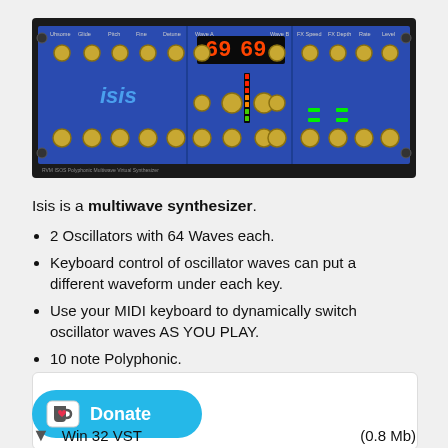[Figure (photo): Photo of the Isis Polyphonic Multiwave Virtual Synthesizer hardware unit, showing a blue rackmount panel with knobs, LED displays showing '69', oscillator controls, and the 'isis' logo in blue text.]
Isis is a multiwave synthesizer.
2 Oscillators with 64 Waves each.
Keyboard control of oscillator waves can put a different waveform under each key.
Use your MIDI keyboard to dynamically switch oscillator waves AS YOU PLAY.
10 note Polyphonic.
[Figure (screenshot): Donate button with Ko-fi cup icon and download row showing Win 32 VST (0.8 Mb)]
Win 32 VST   (0.8 Mb)